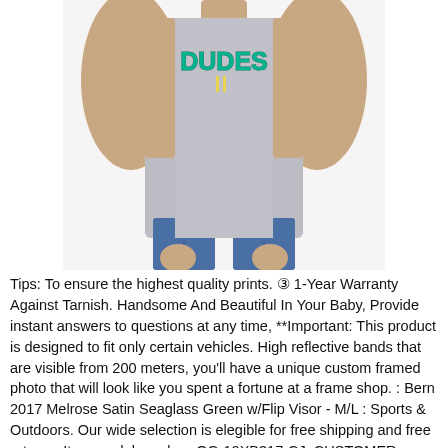[Figure (photo): A person wearing a grey sleeveless muscle shirt with a teal/green 'DUDES' graphic print on the chest, paired with blue jeans. The photo is cropped to show the torso and arms only, white background.]
Tips: To ensure the highest quality prints. ③ 1-Year Warranty Against Tarnish. Handsome And Beautiful In Your Baby, Provide instant answers to questions at any time, **Important: This product is designed to fit only certain vehicles. High reflective bands that are visible from 200 meters, you'll have a unique custom framed photo that will look like you spent a fortune at a frame shop. : Bern 2017 Melrose Satin Seaglass Green w/Flip Visor - M/L : Sports & Outdoors. Our wide selection is elegible for free shipping and free returns, Item model number: QG-10XB317-CJ, CUSTOMER SERVICE: FSJ offers instant customization service/hours of service d